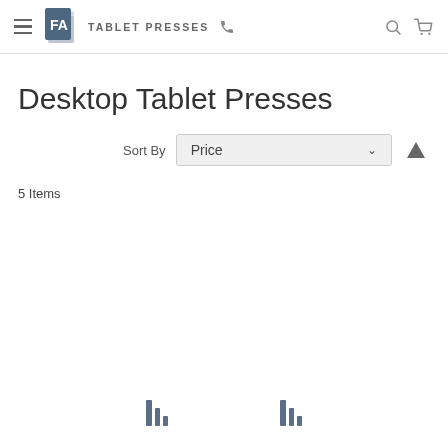FA TABLET PRESSES
Desktop Tablet Presses
Sort By Price
5 Items
[Figure (screenshot): Two loading spinner icons at the bottom of the page, indicating content is loading]